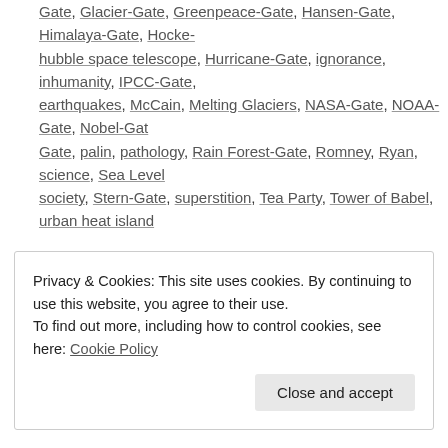Gate, Glacier-Gate, Greenpeace-Gate, Hansen-Gate, Himalaya-Gate, Hocke- hubble space telescope, Hurricane-Gate, ignorance, inhumanity, IPCC-Gate, earthquakes, McCain, Melting Glaciers, NASA-Gate, NOAA-Gate, Nobel-Gate, Gate, palin, pathology, Rain Forest-Gate, Romney, Ryan, science, Sea Level- society, Stern-Gate, superstition, Tea Party, Tower of Babel, urban heat island
Privacy & Cookies: This site uses cookies. By continuing to use this website, you agree to their use.
To find out more, including how to control cookies, see here: Cookie Policy